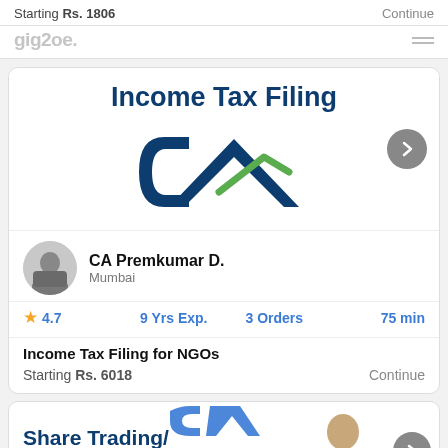Starting Rs. 1806
Continue
[Figure (screenshot): Income Tax Filing banner with CA logo (dark blue and green)]
CA Premkumar D.
Mumbai
4.7   9 Yrs Exp.   3 Orders   75 min
Income Tax Filing for NGOs
Starting Rs. 6018
Continue
[Figure (screenshot): Share Trading/ partial banner with CA logo and person photo]